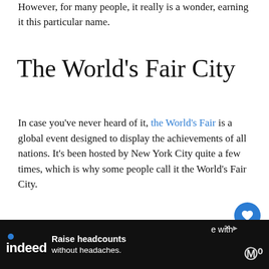However, for many people, it really is a wonder, earning it this particular name.
The World’s Fair City
In case you’ve never heard of it, the World’s Fair is a global event designed to display the achievements of all nations. It’s been hosted by New York City quite a few times, which is why some people call it the World’s Fair City.
Wrap Up
[Figure (screenshot): Indeed advertisement banner: 'Raise headcounts without headaches.']